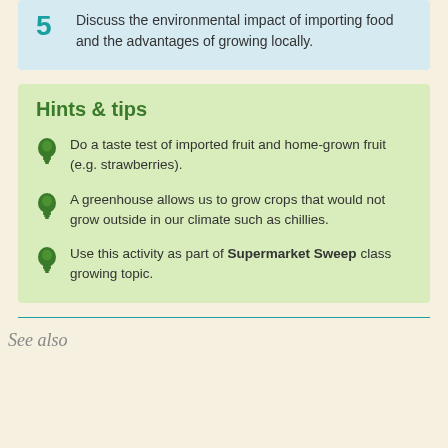5. Discuss the environmental impact of importing food and the advantages of growing locally.
Hints & tips
Do a taste test of imported fruit and home-grown fruit (e.g. strawberries).
A greenhouse allows us to grow crops that would not grow outside in our climate such as chillies.
Use this activity as part of Supermarket Sweep class growing topic.
See also